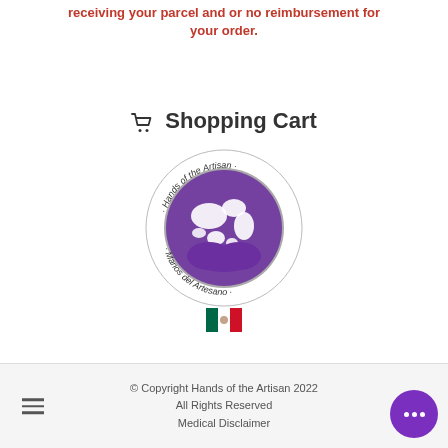receiving your parcel and or no reimbursement for your order.
🛒 Shopping Cart
[Figure (logo): Circular logo for Hands of the Artisan / Manos del Artesano featuring a purple globe with white continents and purple hands, with text around the border]
[Figure (illustration): Mexican flag emoji]
© Copyright Hands of the Artisan 2022 All Rights Reserved Medical Disclaimer